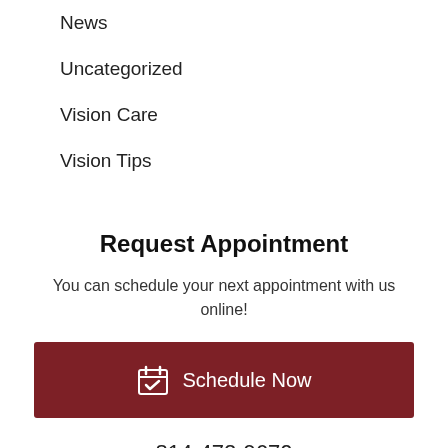News
Uncategorized
Vision Care
Vision Tips
Request Appointment
You can schedule your next appointment with us online!
Schedule Now
814-472-9670